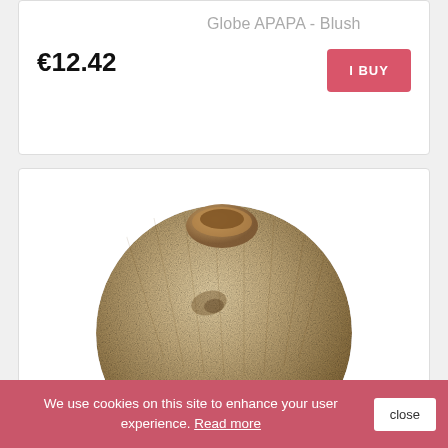Globe APAPA - Blush
€12.42
I BUY
[Figure (photo): Close-up photo of a fabric-wrapped decorative globe/ball in a beige/natural color with a round opening at the top, showing textured woven material.]
We use cookies on this site to enhance your user experience. Read more
close